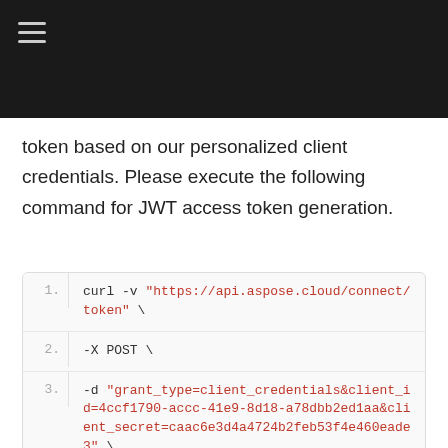token based on our personalized client credentials. Please execute the following command for JWT access token generation.
1. curl -v "https://api.aspose.cloud/connect/token" \
2. -X POST \
3. -d "grant_type=client_credentials&client_id=4ccf1790-accc-41e9-8d18-a78dbb2ed1aa&client_secret=caac6e3d4a4724b2feb53f4e460eade3" \
4. -H "Content-Type: application/x-www-form-urlencoded" \
5. -H "Accept: application/json"